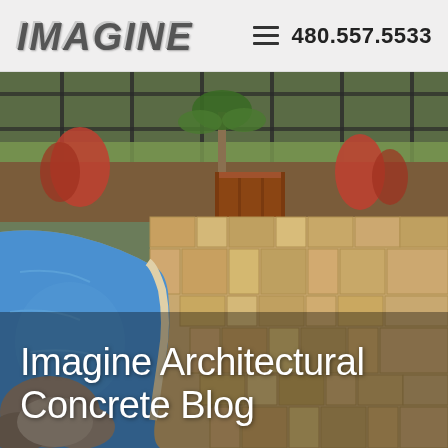[Figure (logo): IMAGINE company logo in metallic italic bold text]
480.557.5533
[Figure (photo): Aerial view of a residential backyard with a curved blue swimming pool surrounded by travertine/stone pavers, rocks, ornamental grasses, a wooden planter box, and a wrought-iron fence in the background]
Imagine Architectural Concrete Blog